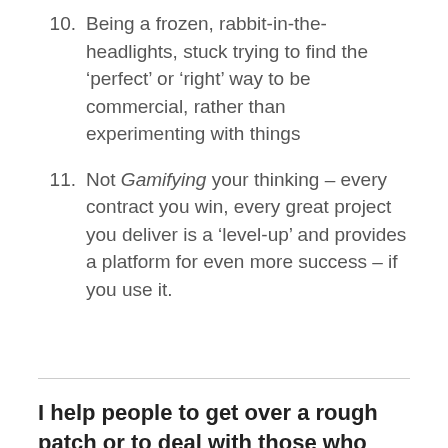10. Being a frozen, rabbit-in-the-headlights, stuck trying to find the ‘perfect’ or ‘right’ way to be commercial, rather than experimenting with things
11. Not Gamifying your thinking – every contract you win, every great project you deliver is a ‘level-up’ and provides a platform for even more success – if you use it.
I help people to get over a rough patch or to deal with those who seem difficult